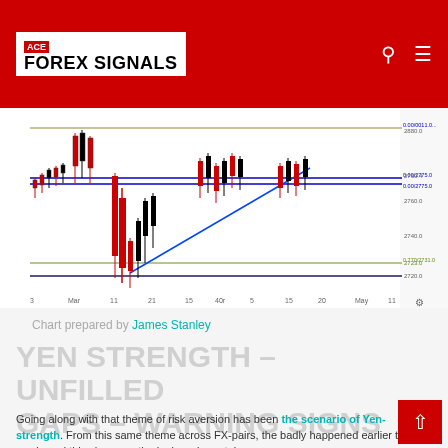ACE FOREX SIGNALS
[Figure (continuous-plot): Candlestick/line chart showing price action with horizontal support/resistance lines (blue and olive/green) and an ascending blue trendline. Price range approximately 2720-2880. X-axis shows dates from March through May. Red candles show a sharp drop followed by recovery.]
Chart prepared by James Stanley
YEN STRENGTH – UNFILLED GAPS – WARNING SIGNS
Going along with that theme of risk aversion has been the scenario of Yen-strength. From this same theme across FX-pairs, the badly happened earlier this week, and this shows as the is down in part, in EUR/JPY  UsD/JPY      AUD/JPY